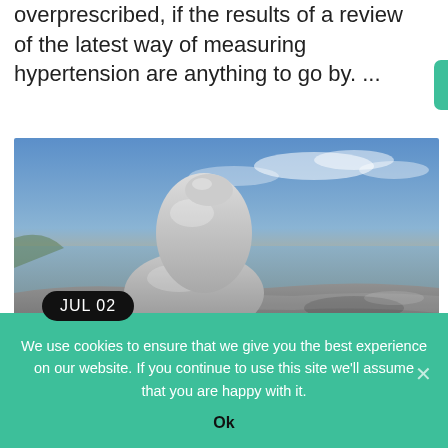overprescribed, if the results of a review of the latest way of measuring hypertension are anything to go by. ...
[Figure (photo): Stacked zen stones balanced on rocky shoreline at sunset with blue sky and clouds in the background. A black rounded badge reads 'JUL 02'.]
We use cookies to ensure that we give you the best experience on our website. If you continue to use this site we'll assume that you are happy with it.
Ok